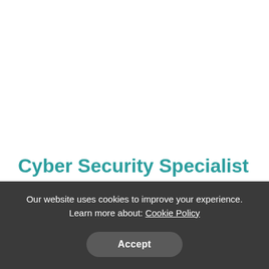Cyber Security Specialist Job Description FAQs:
What is a typical payout for a Cybersecurity
Our website uses cookies to improve your experience. Learn more about: Cookie Policy
Accept